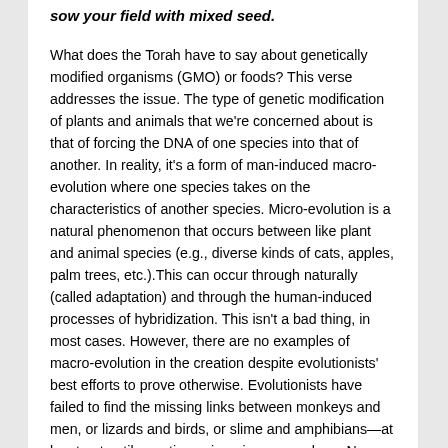sow your field with mixed seed.
What does the Torah have to say about genetically modified organisms (GMO) or foods? This verse addresses the issue. The type of genetic modification of plants and animals that we're concerned about is that of forcing the DNA of one species into that of another. In reality, it's a form of man-induced macro-evolution where one species takes on the characteristics of another species. Micro-evolution is a natural phenomenon that occurs between like plant and animal species (e.g., diverse kinds of cats, apples, palm trees, etc.).This can occur through naturally (called adaptation) and through the human-induced processes of hybridization. This isn't a bad thing, in most cases. However, there are no examples of macro-evolution in the creation despite evolutionists' best efforts to prove otherwise. Evolutionists have failed to find the missing links between monkeys and men, or lizards and birds, or slime and amphibians—at least not until genetic engineering came along. Now they can create the missing link. This is not only an affront to the Creator, and goes contrary to the Bible, but it's the